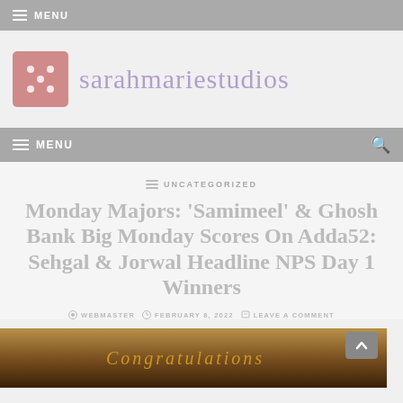MENU
[Figure (logo): sarahmariestudios logo with pink dice icon and purple text]
MENU
UNCATEGORIZED
Monday Majors: 'Samimeel' & Ghosh Bank Big Monday Scores On Adda52: Sehgal & Jorwal Headline NPS Day 1 Winners
WEBMASTER  FEBRUARY 8, 2022  LEAVE A COMMENT
[Figure (photo): Congratulations image with golden decorative text at bottom of page]